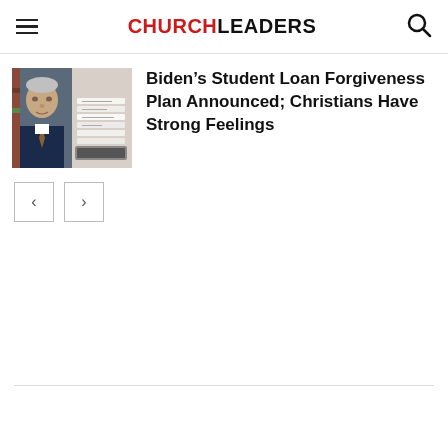CHURCHLEADERS
[Figure (photo): Thumbnail image showing a man in a suit (Biden) on the left and stacked papers/documents on the right]
Biden’s Student Loan Forgiveness Plan Announced; Christians Have Strong Feelings